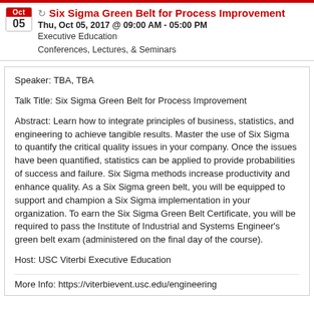Six Sigma Green Belt for Process Improvement
Thu, Oct 05, 2017 @ 09:00 AM - 05:00 PM
Executive Education
Conferences, Lectures, & Seminars
Speaker: TBA, TBA
Talk Title: Six Sigma Green Belt for Process Improvement
Abstract: Learn how to integrate principles of business, statistics, and engineering to achieve tangible results. Master the use of Six Sigma to quantify the critical quality issues in your company. Once the issues have been quantified, statistics can be applied to provide probabilities of success and failure. Six Sigma methods increase productivity and enhance quality. As a Six Sigma green belt, you will be equipped to support and champion a Six Sigma implementation in your organization. To earn the Six Sigma Green Belt Certificate, you will be required to pass the Institute of Industrial and Systems Engineer's green belt exam (administered on the final day of the course).
Host: USC Viterbi Executive Education
More Info: https://viterbievent.usc.edu/engineering